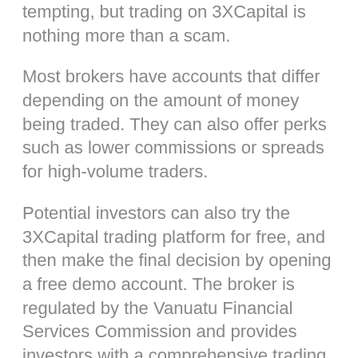tempting, but trading on 3XCapital is nothing more than a scam.
Most brokers have accounts that differ depending on the amount of money being traded. They can also offer perks such as lower commissions or spreads for high-volume traders.
Potential investors can also try the 3XCapital trading platform for free, and then make the final decision by opening a free demo account. The broker is regulated by the Vanuatu Financial Services Commission and provides investors with a comprehensive trading environment, including impressive assets, platforms, trading options, and market options, which can satisfy different types of traders from beginners to professionals. need. Like all leading brokers, 3XCapital provides customers with a